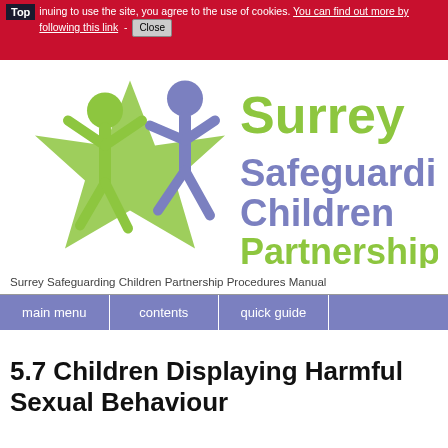Top inuing to use the site, you agree to the use of cookies. You can find out more by following this link - Close
[Figure (logo): Surrey Safeguarding Children Partnership logo with two stylised figures and a star shape in green and blue-purple, with the organisation name in large bold purple and green text.]
Surrey Safeguarding Children Partnership Procedures Manual
main menu | contents | quick guide
5.7 Children Displaying Harmful Sexual Behaviour